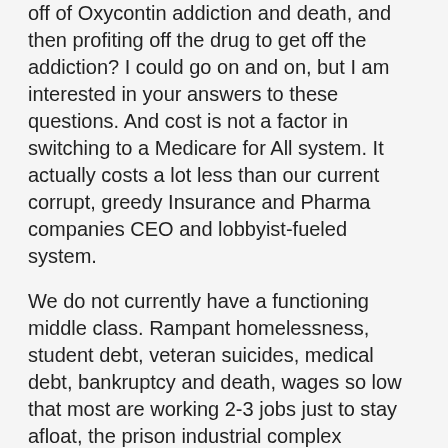off of Oxycontin addiction and death, and then profiting off the drug to get off the addiction? I could go on and on, but I am interested in your answers to these questions. And cost is not a factor in switching to a Medicare for All system. It actually costs a lot less than our current corrupt, greedy Insurance and Pharma companies CEO and lobbyist-fueled system.
We do not currently have a functioning middle class. Rampant homelessness, student debt, veteran suicides, medical debt, bankruptcy and death, wages so low that most are working 2-3 jobs just to stay afloat, the prison industrial complex booming with more people in jail than any other country, AND an obscene $750,000,000,000 military budget, all contribute to probably the most unjust society in the developed world. The four justices: economic,